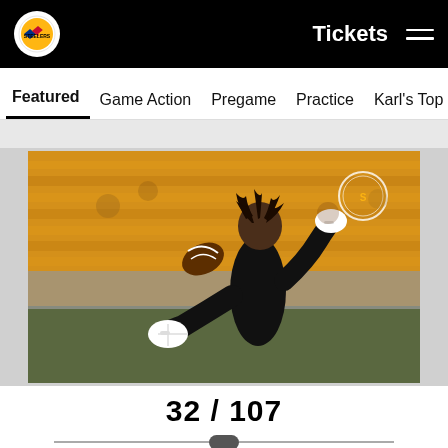Pittsburgh Steelers – Tickets navigation bar
Featured | Game Action | Pregame | Practice | Karl's Top Pics | B
[Figure (photo): Pittsburgh Steelers player in black jersey and white gloves reaching to catch a football during pregame warmups, with yellow stadium seats visible in the background at Heinz Field.]
32 / 107